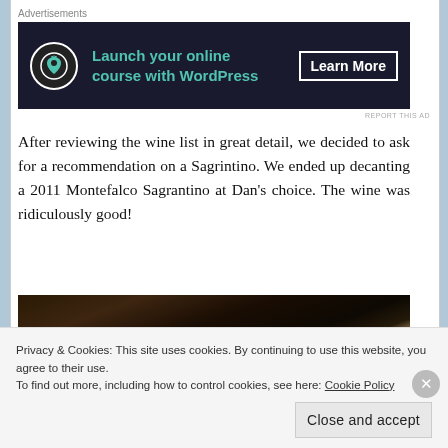Advertisements
[Figure (screenshot): Dark banner ad: bonsai tree logo icon, text 'Launch your online course with WordPress', button 'Learn More']
REPORT THIS AD
After reviewing the wine list in great detail, we decided to ask for a recommendation on a Sagrintino. We ended up decanting a 2011 Montefalco Sagrantino at Dan's choice. The wine was ridiculously good!
[Figure (photo): Dark restaurant photo showing a wine menu/book being held, dimly lit ambiance]
Privacy & Cookies: This site uses cookies. By continuing to use this website, you agree to their use.
To find out more, including how to control cookies, see here: Cookie Policy
Close and accept
REPORT THIS AD